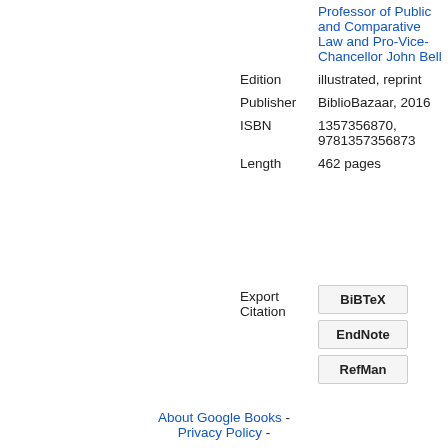|  | Professor of Public and Comparative Law and Pro-Vice-Chancellor John Bell |
| Edition | illustrated, reprint |
| Publisher | BiblioBazaar, 2016 |
| ISBN | 1357356870, 9781357356873 |
| Length | 462 pages |
Export Citation  BiBTeX  EndNote  RefMan
About Google Books - Privacy Policy -